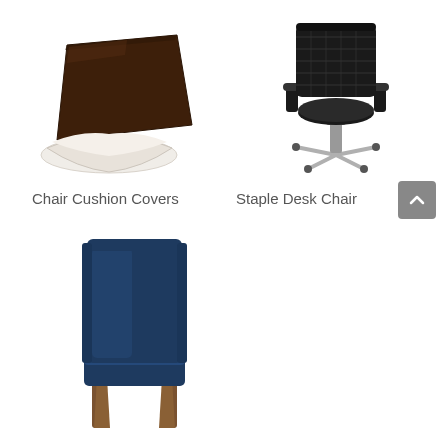[Figure (photo): Brown leather/fabric chair cushion cover with curved modern design, viewed from side angle]
Chair Cushion Covers
[Figure (photo): Black mesh ergonomic office desk chair with armrests and five-star base with wheels, silver base]
Staple Desk Chair
[Figure (photo): Navy blue upholstered dining chair with high back and wooden legs in brown/walnut finish]